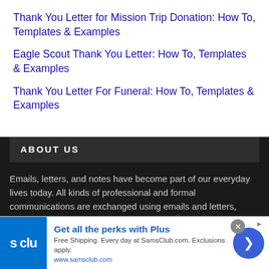Thank You Letter for Mission Trip Donation: How To, Templates & Examples
Eagle Scout Thank You Letter: How To, Templates & Examples
Thank You Letter For Funeral: How To, Templates & Examples
ABOUT US
Emails, letters, and notes have become part of our everyday lives today. All kinds of professional and formal communications are exchanged using emails and letters, regardless of which field of work you belong to.
About Us
Advertise With Us
Get all the perks with Plus
Free Shipping. Every day at SamsClub.com. Exclusions apply.
www.samsclub.com